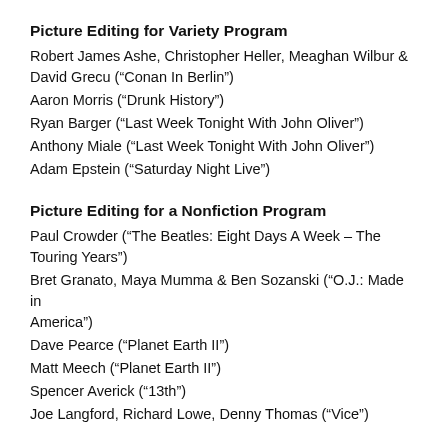Picture Editing for Variety Program
Robert James Ashe, Christopher Heller, Meaghan Wilbur & David Grecu (“Conan In Berlin”)
Aaron Morris (“Drunk History”)
Ryan Barger (“Last Week Tonight With John Oliver”)
Anthony Miale (“Last Week Tonight With John Oliver”)
Adam Epstein (“Saturday Night Live”)
Picture Editing for a Nonfiction Program
Paul Crowder (“The Beatles: Eight Days A Week – The Touring Years”)
Bret Granato, Maya Mumma & Ben Sozanski (“O.J.: Made in America”)
Dave Pearce (“Planet Earth II”)
Matt Meech (“Planet Earth II”)
Spencer Averick (“13th”)
Joe Langford, Richard Lowe, Denny Thomas (“Vice”)